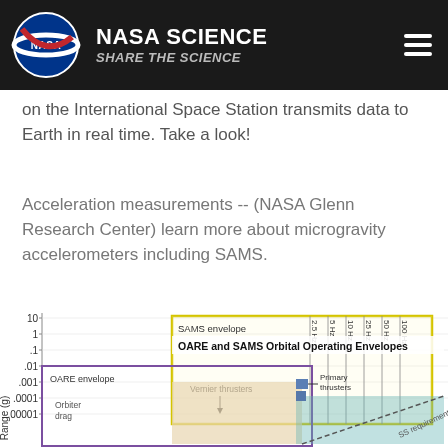NASA SCIENCE — SHARE THE SCIENCE
on the International Space Station transmits data to Earth in real time. Take a look!
Acceleration measurements -- (NASA Glenn Research Center) learn more about microgravity accelerometers including SAMS.
[Figure (engineering-diagram): OARE and SAMS Orbital Operating Envelopes chart showing Range (g) on y-axis with values from .00001 to 10. The chart shows OARE envelope (purple border) and SAMS envelope (yellow border) with labels for Orbiter drag, Vernier thrusters, Primary thrusters, and SS requirement (dashed line). Frequency lines at 2.5 Hz, 5 Hz, 10 Hz, 25 Hz, 50 Hz, 100 Hz are shown on the right side.]